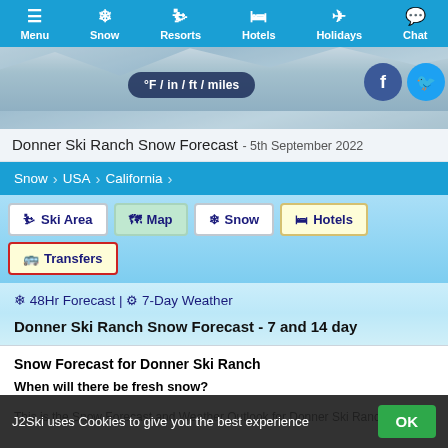Menu | Snow | Resorts | Hotels | Holidays | Chat
[Figure (screenshot): Hero banner with snowy mountain background, unit toggle button showing °F / in / ft / miles, Facebook and Twitter social icons]
Donner Ski Ranch Snow Forecast - 5th September 2022
Snow > USA > California
Ski Area | Map | Snow | Hotels | Transfers
❄ 48Hr Forecast | ⚙ 7-Day Weather
Donner Ski Ranch Snow Forecast - 7 and 14 day
Snow Forecast for Donner Ski Ranch
When will there be fresh snow?
This is the Snow Forecast and Weather Outlook for Donner Ski Ranch
J2Ski uses Cookies to give you the best experience